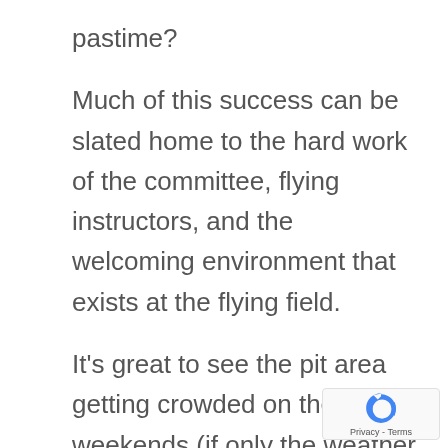pastime?
Much of this success can be slated home to the hard work of the committee, flying instructors, and the welcoming environment that exists at the flying field.
It’s great to see the pit area getting crowded on the weekends (if only the weather would improve…).  Those o who sleep-in are now being banishe